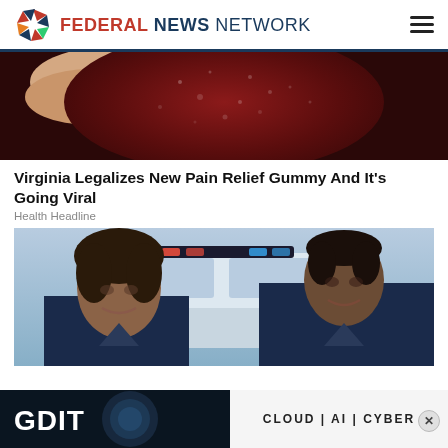FEDERAL NEWS NETWORK
[Figure (photo): Close-up of a dark red gummy candy being held between fingers]
Virginia Legalizes New Pain Relief Gummy And It's Going Viral
Health Headline
[Figure (photo): Two smiling women in dark polo shirts standing in front of a car with flashing lights]
[Figure (other): GDIT advertisement banner: CLOUD | AI | CYBER]